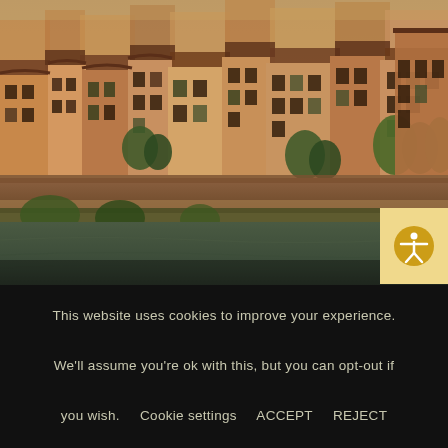[Figure (photo): Aerial/elevated view of an Italian city (likely Verona) along a river, showing terracotta-roofed buildings, colorful facades in orange, yellow, and brown tones, with a riverside promenade and trees, taken at golden hour.]
This website uses cookies to improve your experience. We'll assume you're ok with this, but you can opt-out if you wish.   Cookie settings   ACCEPT   REJECT